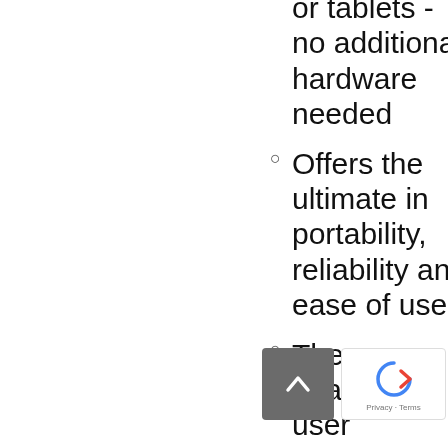or tablets - no additional hardware needed
Offers the ultimate in portability, reliability and ease of use
The deafblind user